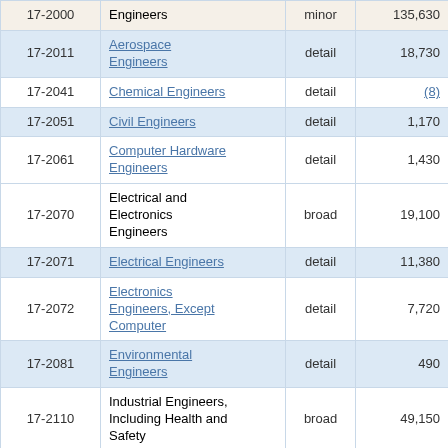| Code | Occupation | Level | Employment | ... |
| --- | --- | --- | --- | --- |
| 17-2000 | Engineers | minor | 135,630 | ... |
| 17-2011 | Aerospace Engineers | detail | 18,730 | 1... |
| 17-2041 | Chemical Engineers | detail | (8) |  |
| 17-2051 | Civil Engineers | detail | 1,170 | 3... |
| 17-2061 | Computer Hardware Engineers | detail | 1,430 | 3... |
| 17-2070 | Electrical and Electronics Engineers | broad | 19,100 | 1... |
| 17-2071 | Electrical Engineers | detail | 11,380 | 1... |
| 17-2072 | Electronics Engineers, Except Computer | detail | 7,720 | 1... |
| 17-2081 | Environmental Engineers | detail | 490 | 2... |
| 17-2110 | Industrial Engineers, Including Health and Safety | broad | 49,150 | 0... |
| 17-2111 | Health and Safety Engineers, Except Mining Safety Engineers and... | detail | 1,180 | 3... |